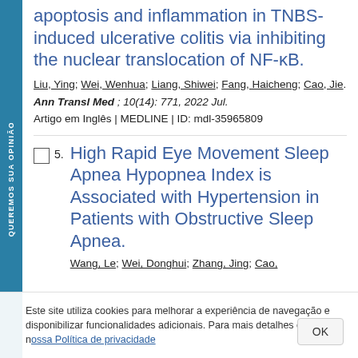apoptosis and inflammation in TNBS-induced ulcerative colitis via inhibiting the nuclear translocation of NF-κB.
Liu, Ying; Wei, Wenhua; Liang, Shiwei; Fang, Haicheng; Cao, Jie.
Ann Transl Med ; 10(14): 771, 2022 Jul.
Artigo em Inglês | MEDLINE | ID: mdl-35965809
5. High Rapid Eye Movement Sleep Apnea Hypopnea Index is Associated with Hypertension in Patients with Obstructive Sleep Apnea.
Wang, Le; Wei, Donghui; Zhang, Jing; Cao,
Este site utiliza cookies para melhorar a experiência de navegação e disponibilizar funcionalidades adicionais. Para mais detalhes consulte nossa Política de privacidade